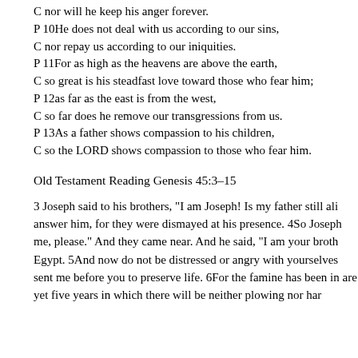C nor will he keep his anger forever.
P 10He does not deal with us according to our sins,
C nor repay us according to our iniquities.
P 11For as high as the heavens are above the earth,
C so great is his steadfast love toward those who fear him;
P 12as far as the east is from the west,
C so far does he remove our transgressions from us.
P 13As a father shows compassion to his children,
C so the LORD shows compassion to those who fear him.
Old Testament Reading Genesis 45:3–15
3 Joseph said to his brothers, “I am Joseph! Is my father still ali answer him, for they were dismayed at his presence. 4So Joseph me, please.” And they came near. And he said, “I am your broth Egypt. 5And now do not be distressed or angry with yourselves sent me before you to preserve life. 6For the famine has been in are yet five years in which there will be neither plowing nor har